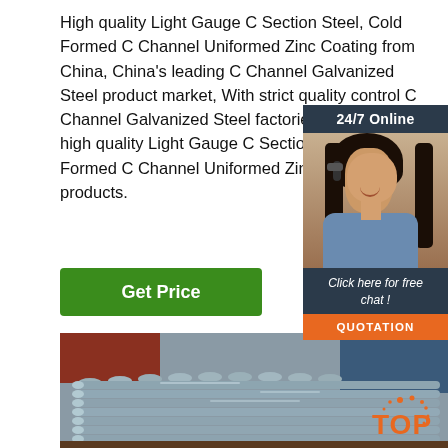High quality Light Gauge C Section Steel, Cold Formed C Channel Uniformed Zinc Coating from China, China's leading C Channel Galvanized Steel product market, With strict quality control C Channel Galvanized Steel factories, Producing high quality Light Gauge C Section Steel, Cold Formed C Channel Uniformed Zinc Coating products.
[Figure (other): Customer service chat widget with '24/7 Online' header, photo of smiling woman with headset, 'Click here for free chat!' text, and orange QUOTATION button]
Get Price
[Figure (photo): Photo of stacked galvanized steel C channel sections/rods in grey/silver color, stored outdoors]
[Figure (logo): TOP logo in orange with decorative dots above the letters]